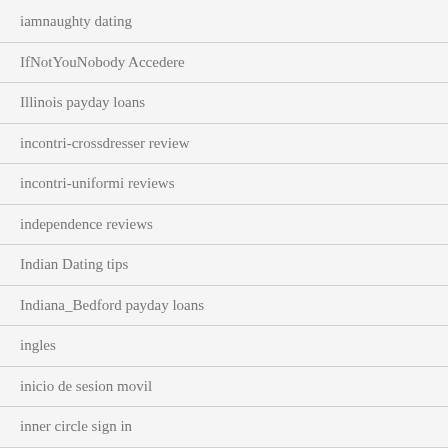iamnaughty dating
IfNotYouNobody Accedere
Illinois payday loans
incontri-crossdresser review
incontri-uniformi reviews
independence reviews
Indian Dating tips
Indiana_Bedford payday loans
ingles
inicio de sesion movil
inner circle sign in
instabang Accedere